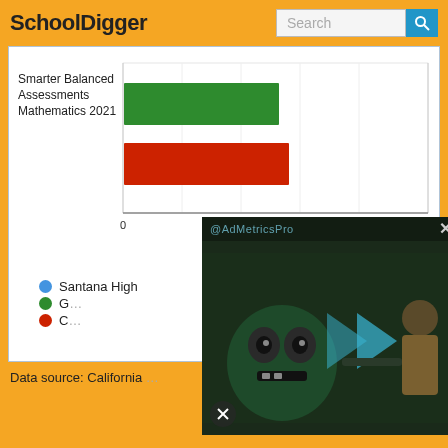SchoolDigger
[Figure (bar-chart): Smarter Balanced Assessments Mathematics 2021]
Santana High
G (partially obscured)
C (partially obscured)
Data source: California ...